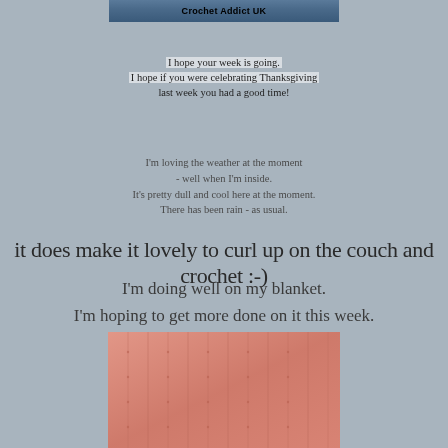[Figure (photo): Crochet Addict UK blog header image with bold text on dark background]
I hope your week is going.
I hope if you were celebrating Thanksgiving
last week you had a good time!
I'm loving the weather at the moment
- well when I'm inside.
It's pretty dull and cool here at the moment.
There has been rain - as usual.
it does make it lovely to curl up on the couch and crochet :-)
I'm doing well on my blanket.
I'm hoping to get more done on it this week.
[Figure (photo): Photo of a pink crocheted blanket in progress]